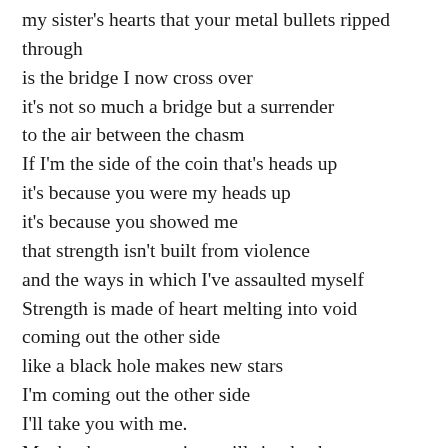my sister's hearts that your metal bullets ripped through
is the bridge I now cross over
it's not so much a bridge but a surrender
to the air between the chasm
If I'm the side of the coin that's heads up
it's because you were my heads up
it's because you showed me
that strength isn't built from violence
and the ways in which I've assaulted myself
Strength is made of heart melting into void
coming out the other side
like a black hole makes new stars
I'm coming out the other side
I'll take you with me.
Maybe these new voices will sing back
and tell you what you were made of

even pennies were made strong by copper melting in a